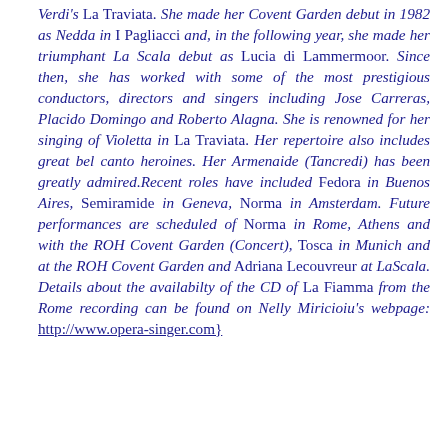Verdi's La Traviata. She made her Covent Garden debut in 1982 as Nedda in I Pagliacci and, in the following year, she made her triumphant La Scala debut as Lucia di Lammermoor. Since then, she has worked with some of the most prestigious conductors, directors and singers including Jose Carreras, Placido Domingo and Roberto Alagna. She is renowned for her singing of Violetta in La Traviata. Her repertoire also includes great bel canto heroines. Her Armenaide (Tancredi) has been greatly admired.Recent roles have included Fedora in Buenos Aires, Semiramide in Geneva, Norma in Amsterdam. Future performances are scheduled of Norma in Rome, Athens and with the ROH Covent Garden (Concert), Tosca in Munich and at the ROH Covent Garden and Adriana Lecouvreur at LaScala. Details about the availabilty of the CD of La Fiamma from the Rome recording can be found on Nelly Miricioiu's webpage: http://www.opera-singer.com}